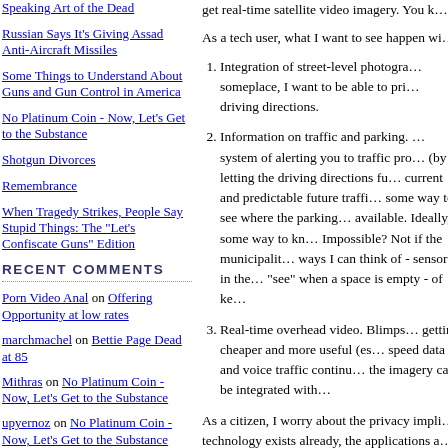Speaking Art of the Dead
Russian Says It's Giving Assad Anti-Aircraft Missiles
Some Things to Understand About Guns and Gun Control in America
No Platinum Coin - Now, Let's Get to the Substance
Shotgun Divorces
Remembrance
When Tragedy Strikes, People Say Stupid Things: The "Let's Confiscate Guns" Edition
RECENT COMMENTS
Porn Video Anal on Offering Opportunity at low rates
marchmachel on Bettie Page Dead at 85
Mithras on No Platinum Coin - Now, Let's Get to the Substance
upyernoz on No Platinum Coin - Now, Let's Get to the Substance
kırışıklık kremi on Philly's Stadium Zone
kırışıklık kremi on No Platinum Coin - Now, Let's Get to the Substance
Alan on Shotgun Divorces
upyernoz on When Tragedy Strikes, People Say Stupid Things: The "Let's
get real-time satellite video imagery.  You k…
As a tech user, what I want to see happen wi…
1. Integration of street-level photogra… someplace, I want to be able to pri… driving directions.
2. Information on traffic and parking. … system of alerting you to traffic pro… (by letting the driving directions fu… current and predictable future traffi… some way to see where the parking… available.  Ideally, some way to kn… Impossible?  Not if the municipalit… ways I can think of - sensors in the… "see" when a space is empty - of ke…
3. Real-time overhead video.  Blimps… getting cheaper and more useful (es… speed data and voice traffic continu… the imagery can be integrated with…
As a citizen, I worry about the privacy impli… technology exists already, the applications a… potential vast. It's coming (someday), so w…